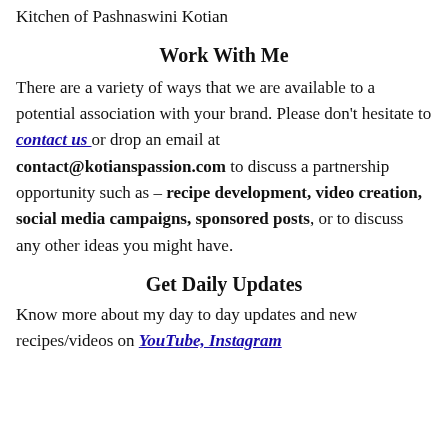Kitchen of Pashnaswini Kotian
Work With Me
There are a variety of ways that we are available to a potential association with your brand. Please don't hesitate to contact us or drop an email at contact@kotianspassion.com to discuss a partnership opportunity such as – recipe development, video creation, social media campaigns, sponsored posts, or to discuss any other ideas you might have.
Get Daily Updates
Know more about my day to day updates and new recipes/videos on YouTube, Instagram